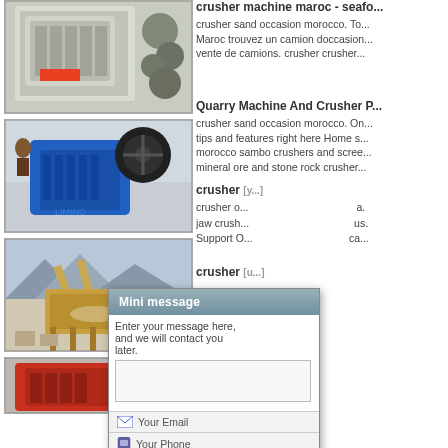[Figure (photo): Industrial jaw crusher machine, cream/grey colored, against rocky background]
[Figure (photo): Blue jaw crusher machine (Liming brand) in factory setting]
[Figure (photo): Large gold-colored quarry crushing plant with conveyor belts]
[Figure (photo): Red crusher machine, partially visible]
crusher machine maroc - seafo...
crusher sand occasion morocco. To... Maroc trouvez un camion doccasion... vente de camions. crusher crusher...
Quarry Machine And Crusher P...
crusher sand occasion morocco. On... tips and features right here Home s... morocco sambo crushers and scree... mineral ore and stone rock crusher...
crusher [partially obscured by popup]
crusher o... jaw crush... Support O...
crusher [bottom, partially obscured]
[Figure (screenshot): Mini message popup dialog with textarea, email field, phone field, Email Us and Send buttons]